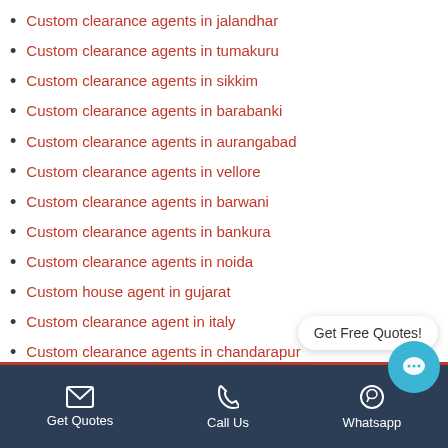Custom clearance agents in jalandhar
Custom clearance agents in tumakuru
Custom clearance agents in sikkim
Custom clearance agents in barabanki
Custom clearance agents in aurangabad
Custom clearance agents in vellore
Custom clearance agents in barwani
Custom clearance agents in bankura
Custom clearance agents in noida
Custom house agent in gujarat
Custom clearance agent in italy
Custom clearance agents in chandarapur
Air freight custom clearance agent in m
Custom clearance agents in vijayawada
Get Quotes | Call Us | Whatsapp